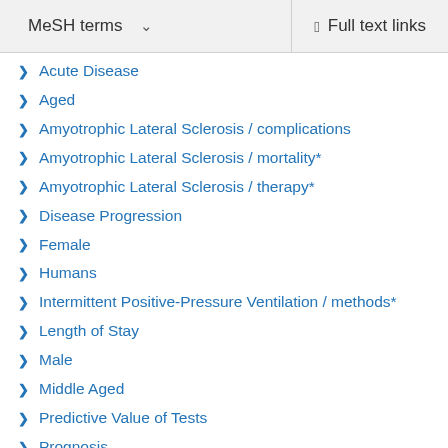MeSH terms   Full text links
Acute Disease
Aged
Amyotrophic Lateral Sclerosis / complications
Amyotrophic Lateral Sclerosis / mortality*
Amyotrophic Lateral Sclerosis / therapy*
Disease Progression
Female
Humans
Intermittent Positive-Pressure Ventilation / methods*
Length of Stay
Male
Middle Aged
Predictive Value of Tests
Prognosis
Proportional Hazards Models
Prospective Studies